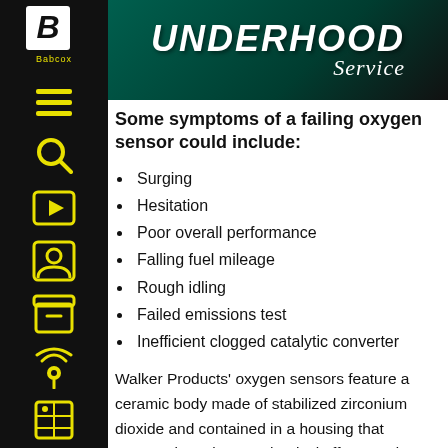UNDERHOOD Service
Some symptoms of a failing oxygen sensor could include:
Surging
Hesitation
Poor overall performance
Falling fuel mileage
Rough idling
Failed emissions test
Inefficient clogged catalytic converter
Walker Products' oxygen sensors feature a ceramic body made of stabilized zirconium dioxide and contained in a housing that protects it against mechanical effects and facilitates mounting. A gas-permeable platinum layer comprises the electrodes that coat the surface, and a porous